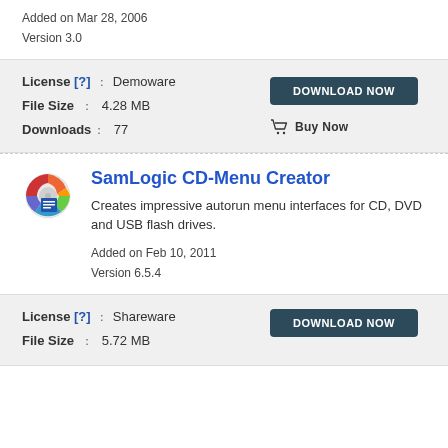Added on Mar 28, 2006
Version 3.0
| Field | Value |
| --- | --- |
| License [?] | Demoware |
| File Size | 4.28 MB |
| Downloads | 77 |
SamLogic CD-Menu Creator
Creates impressive autorun menu interfaces for CD, DVD and USB flash drives.
Added on Feb 10, 2011
Version 6.5.4
| Field | Value |
| --- | --- |
| License [?] | Shareware |
| File Size | 5.72 MB |